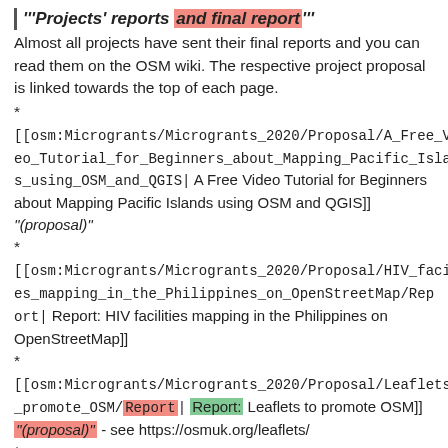'''Projects' reports and final report'''
Almost all projects have sent their final reports and you can read them on the OSM wiki. The respective project proposal is linked towards the top of each page.
*
[[osm:Microgrants/Microgrants_2020/Proposal/A_Free_Video_Tutorial_for_Beginners_about_Mapping_Pacific_Islands_using_OSM_and_QGIS| A Free Video Tutorial for Beginners about Mapping Pacific Islands using OSM and QGIS]] ''(proposal)"
*
[[osm:Microgrants/Microgrants_2020/Proposal/HIV_facilities_mapping_in_the_Philippines_on_OpenStreetMap/Report| Report: HIV facilities mapping in the Philippines on OpenStreetMap]]
*
[[osm:Microgrants/Microgrants_2020/Proposal/Leaflets_to_promote_OSM/Report| Report: Leaflets to promote OSM]] ''(proposal)" - see https://osmuk.org/leaflets/
*